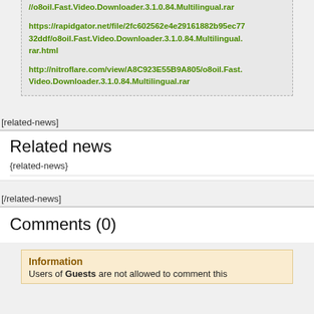https://rapidgator.net/file/2fc602562e4e29161882b95ec7732ddf/o8oil.Fast.Video.Downloader.3.1.0.84.Multilingual.rar.html
http://nitroflare.com/view/A8C923E55B9A805/o8oil.Fast.Video.Downloader.3.1.0.84.Multilingual.rar
[related-news]
Related news
{related-news}
[/related-news]
Comments (0)
Information
Users of Guests are not allowed to comment this